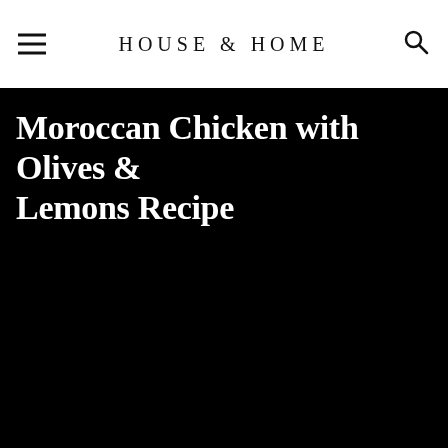HOUSE & HOME
[Figure (photo): Dark background food photo — Moroccan Chicken with Olives & Lemons dish, appears mostly black/dark]
Moroccan Chicken with Olives & Lemons Recipe